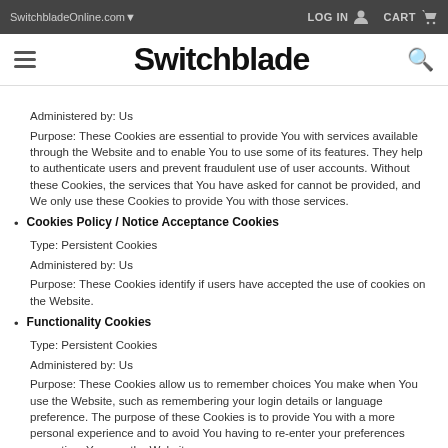SwitchbladeOnline.com▾   LOG IN   CART
[Figure (logo): Switchblade logo with hamburger menu icon and search icon]
Administered by: Us
Purpose: These Cookies are essential to provide You with services available through the Website and to enable You to use some of its features. They help to authenticate users and prevent fraudulent use of user accounts. Without these Cookies, the services that You have asked for cannot be provided, and We only use these Cookies to provide You with those services.
Cookies Policy / Notice Acceptance Cookies
Type: Persistent Cookies
Administered by: Us
Purpose: These Cookies identify if users have accepted the use of cookies on the Website.
Functionality Cookies
Type: Persistent Cookies
Administered by: Us
Purpose: These Cookies allow us to remember choices You make when You use the Website, such as remembering your login details or language preference. The purpose of these Cookies is to provide You with a more personal experience and to avoid You having to re-enter your preferences every time You use the Website.
Tracking and Performance Cookies